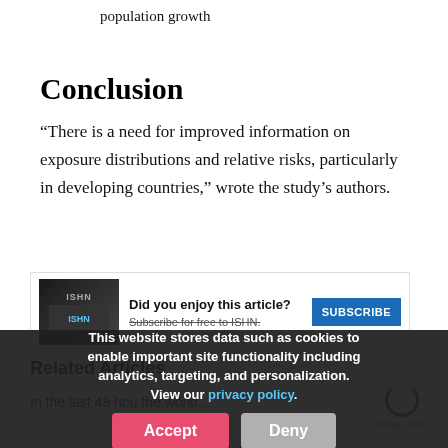exposures between 1990 and 2016 due to population growth
Conclusion
“There is a need for improved information on exposure distributions and relative risks, particularly in developing countries,” wrote the study’s authors.
[Figure (screenshot): ISHN magazine advertisement banner with logo, text 'Did you enjoy this article?' and a blue SUBSCRIBE button. Subtext reads 'Subscribe for free to ISHN.']
This website stores data such as cookies to enable important site functionality including analytics, targeting, and personalization. View our privacy policy.
Related Articles
In the last 48 hou... the world...